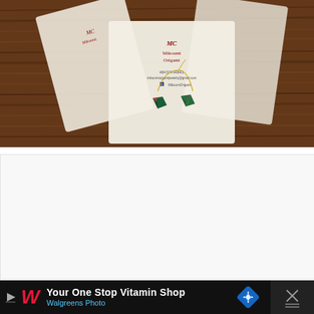[Figure (photo): Photo of origami jewelry items (small geometric crystal-shaped pendants on gold chain necklaces) in clear packaging bags with 'Mikoumi Origami' branding cards on a dark wood table surface.]
[Figure (photo): White/light gray blank rectangle area, appears to be a second image slot that is empty or loading.]
Your One Stop Vitamin Shop
Walgreens Photo